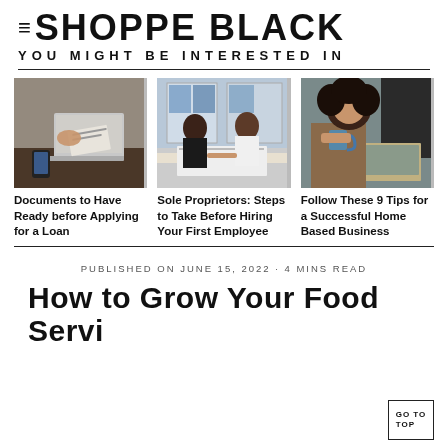SHOPPE BLACK
YOU MIGHT BE INTERESTED IN
[Figure (photo): Person working at a laptop with documents and phone on a dark table]
Documents to Have Ready before Applying for a Loan
[Figure (photo): Two women sitting at a table in a bright office, talking and writing]
Sole Proprietors: Steps to Take Before Hiring Your First Employee
[Figure (photo): Woman with curly hair holding a mug and looking at a laptop in a kitchen]
Follow These 9 Tips for a Successful Home Based Business
PUBLISHED ON JUNE 15, 2022 · 4 MINS READ
How to Grow Your Food Servi…